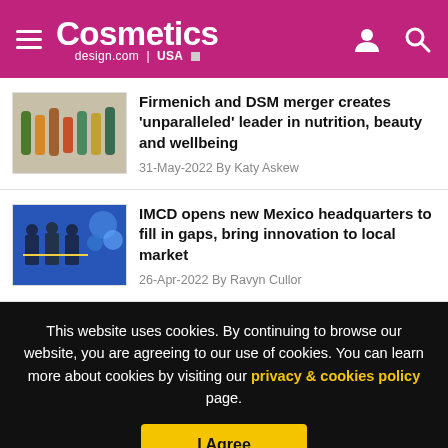Cosmetics design.com | USA
Firmenich and DSM merger creates 'unparalleled' leader in nutrition, beauty and wellbeing
31-May-2022 By Katy Askew
IMCD opens new Mexico headquarters to fill in gaps, bring innovation to local market
26-Apr-2022 By Ravyn Cullor
This website uses cookies. By continuing to browse our website, you are agreeing to our use of cookies. You can learn more about cookies by visiting our privacy & cookies policy page.
I Agree